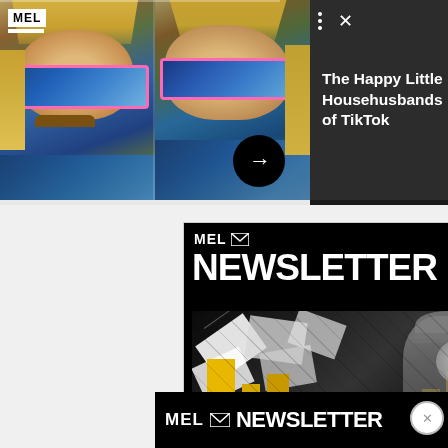[Figure (photo): Top banner showing two photos of a man with a mullet hairstyle and colorful blue mirrored sunglasses with pink frames, wearing a blue patterned outfit. The man appears twice side by side. A circular black arrow button overlays the center-right of the photos. To the right is a dark gray panel with text.]
The Happy Little Househusbands of TikTok
[Figure (advertisement): MEL Newsletter advertisement with black background. Shows 'MEL' logo with envelope icon, large white bold text 'NEWSLETTER', and a black and white collage image featuring a figure in a cowboy hat surrounded by flying envelopes and yellow/gold rectangular shapes.]
[Figure (advertisement): Bottom strip banner: black background with 'MEL' logo, envelope icon, and 'NEWSLETTER' text in white bold lettering. A pink/red X close button appears at top right. A circle close button appears to the right.]